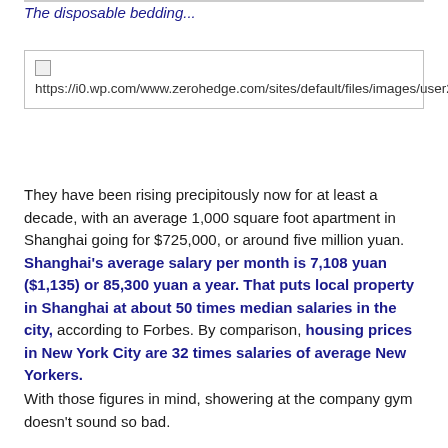The disposable bedding...
[Figure (screenshot): Broken image placeholder showing URL: https://i0.wp.com/www.zerohedge.com/sites/default/files/images/user245717/imageroot/2017/2017.07.15shanghaifive.JPG]
They have been rising precipitously now for at least a decade, with an average 1,000 square foot apartment in Shanghai going for $725,000, or around five million yuan. Shanghai’s average salary per month is 7,108 yuan ($1,135) or 85,300 yuan a year. That puts local property in Shanghai at about 50 times median salaries in the city, according to Forbes. By comparison, housing prices in New York City are 32 times salaries of average New Yorkers.
With those figures in mind, showering at the company gym doesn’t sound so bad.